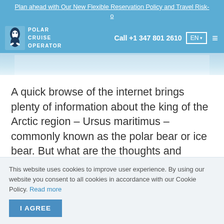Plan ahead with Our New Flexible Reservation Policy and Travel Risk-o
[Figure (logo): Polar Cruise Operator logo with penguin icon and text POLAR CRUISE OPERATOR]
Call +1 347 801 2610  EN
[Figure (photo): Partial view of polar bear or arctic animal against light blue/white background]
A quick browse of the internet brings plenty of information about the king of the Arctic region – Ursus maritimus – commonly known as the polar bear or ice bear. But what are the thoughts and anecdotes of someone who's worked in polar bear territory for more than a
This website uses cookies to improve user experience. By using our website you consent to all cookies in accordance with our Cookie Policy. Read more
I AGREE